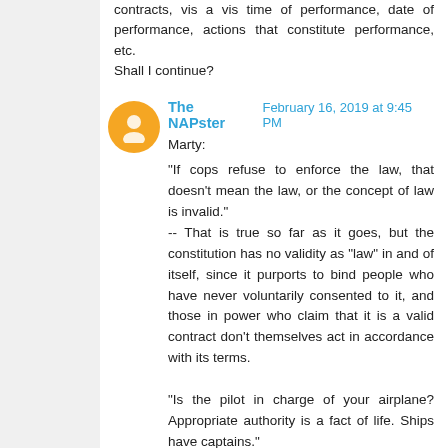contracts, vis a vis time of performance, date of performance, actions that constitute performance, etc.
Shall I continue?
The NAPster  February 16, 2019 at 9:45 PM
Marty:
"If cops refuse to enforce the law, that doesn't mean the law, or the concept of law is invalid."
-- That is true so far as it goes, but the constitution has no validity as "law" in and of itself, since it purports to bind people who have never voluntarily consented to it, and those in power who claim that it is a valid contract don't themselves act in accordance with its terms.

"Is the pilot in charge of your airplane? Appropriate authority is a fact of life. Ships have captains."
-- You are not distinguishing between authority